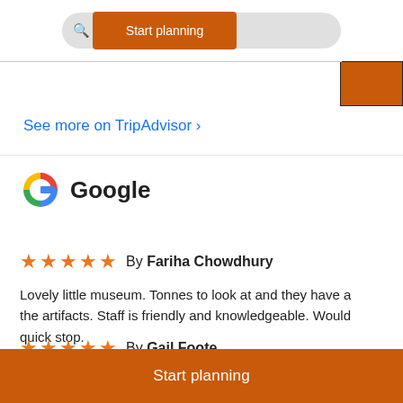[Figure (screenshot): Top navigation bar with search pill showing 'Start planning' in orange, icons for saved places and activities, and an orange block in top right]
See more on TripAdvisor ›
[Figure (logo): Google 'G' logo in red, blue, yellow, green colors followed by the word 'Google' in bold black text]
★★★★★  By Fariha Chowdhury
Lovely little museum. Tonnes to look at and they have a the artifacts. Staff is friendly and knowledgeable. Would quick stop.
★★★★★  By Gail Foote
Start planning